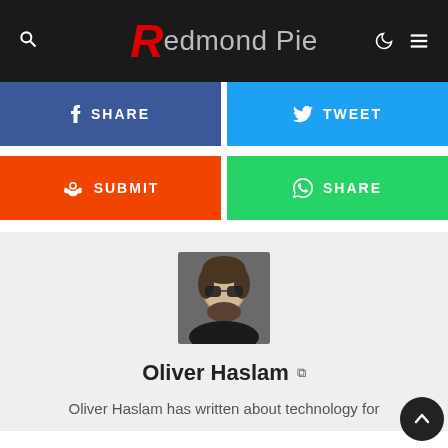Redmond Pie
SHARE
TWEET
SUBMIT
SHARE
[Figure (photo): Profile photo of Oliver Haslam wearing sunglasses]
Oliver Haslam
Oliver Haslam has written about technology for